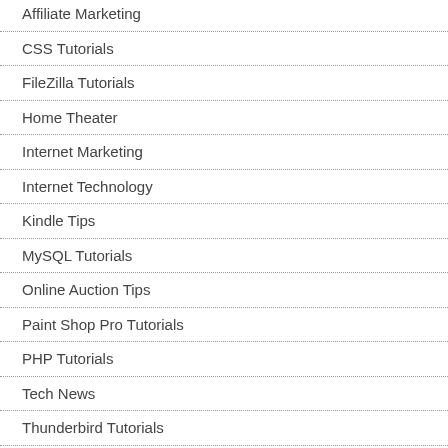Affiliate Marketing
CSS Tutorials
FileZilla Tutorials
Home Theater
Internet Marketing
Internet Technology
Kindle Tips
MySQL Tutorials
Online Auction Tips
Paint Shop Pro Tutorials
PHP Tutorials
Tech News
Thunderbird Tutorials